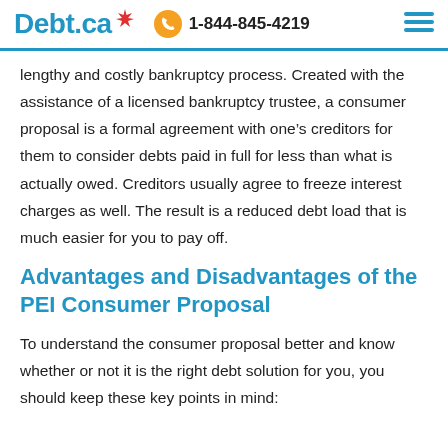Debt.ca  1-844-845-4219
lengthy and costly bankruptcy process. Created with the assistance of a licensed bankruptcy trustee, a consumer proposal is a formal agreement with one’s creditors for them to consider debts paid in full for less than what is actually owed. Creditors usually agree to freeze interest charges as well. The result is a reduced debt load that is much easier for you to pay off.
Advantages and Disadvantages of the PEI Consumer Proposal
To understand the consumer proposal better and know whether or not it is the right debt solution for you, you should keep these key points in mind: